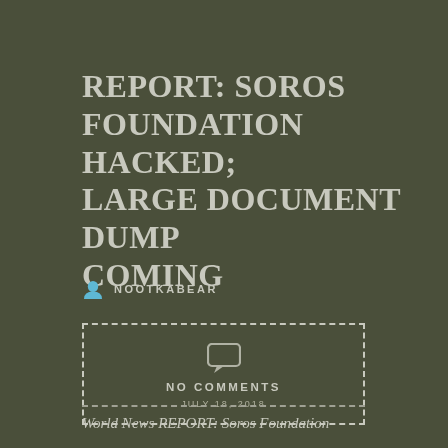REPORT: SOROS FOUNDATION HACKED; LARGE DOCUMENT DUMP COMING
NOOTKABEAR
NO COMMENTS
JULY 18, 2018
World News REPORT: Soros Foundation